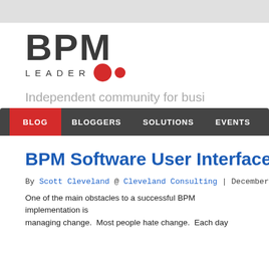[Figure (logo): BPM Leader logo with large bold BPM text, LEADER text with two red dots]
Independent community for busi…
BLOG | BLOGGERS | SOLUTIONS | EVENTS | ABOUT US
BPM Software User Interface
By Scott Cleveland @ Cleveland Consulting | December 3, 20…
One of the main obstacles to a successful BPM implementation is managing change. Most people hate change. Each day…